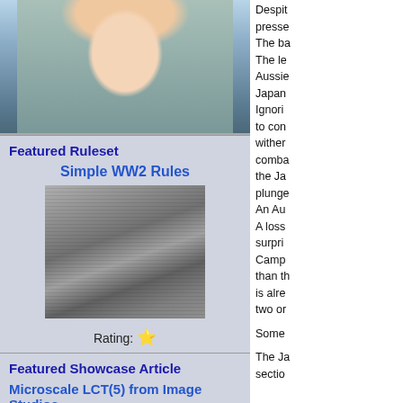[Figure (photo): Smiling woman selfie in military-style jacket]
Featured Ruleset
Simple WW2 Rules
[Figure (photo): Black and white historical photo of military figures in a crowd]
Rating: ⭐
Featured Showcase Article
Microscale LCT(5) from Image Studios
[Figure (photo): Dark photo of a scale model LCT(5) landing craft]
Despite
presse
The ba
The le
Aussie
Japan
Ignori
to con
wither
combat
the Ja
plunge
An Au
A loss
surpri
Camp
than th
is alre
two or

Some

The Ja
sectio